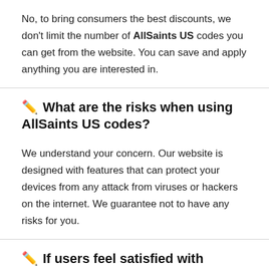No, to bring consumers the best discounts, we don't limit the number of AllSaints US codes you can get from the website. You can save and apply anything you are interested in.
🔏 What are the risks when using AllSaints US codes?
We understand your concern. Our website is designed with features that can protect your devices from any attack from viruses or hackers on the internet. We guarantee not to have any risks for you.
🔏 If users feel satisfied with AllSaints US promos or not?
We are all ready for all and for anyone of the...